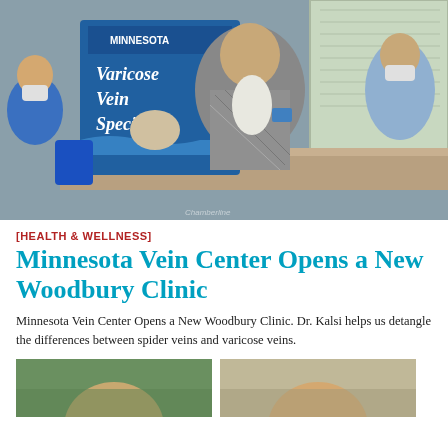[Figure (photo): Indoor photo of a woman in a houndstooth blazer standing near a reception desk. Behind her is a banner reading 'Varicose Vein Specialists' with a Minnesota logo. Several people wearing masks are visible in the background.]
[HEALTH & WELLNESS]
Minnesota Vein Center Opens a New Woodbury Clinic
Minnesota Vein Center Opens a New Woodbury Clinic. Dr. Kalsi helps us detangle the differences between spider veins and varicose veins.
[Figure (photo): Partial photo showing a person outdoors, cropped at bottom of page.]
[Figure (photo): Partial photo showing a person, cropped at bottom of page.]